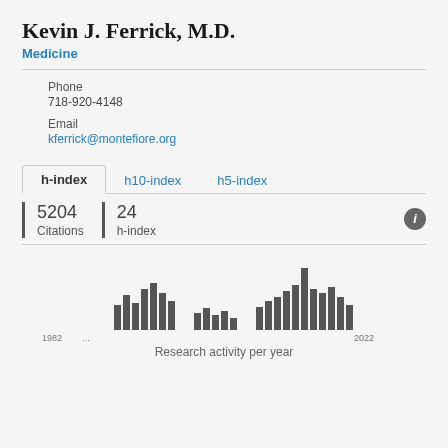Kevin J. Ferrick, M.D.
Medicine
Phone
718-920-4148
Email
kferrick@montefiore.org
h-index   h10-index   h5-index
5204 Citations   24 h-index
[Figure (bar-chart): Research activity per year]
Research activity per year